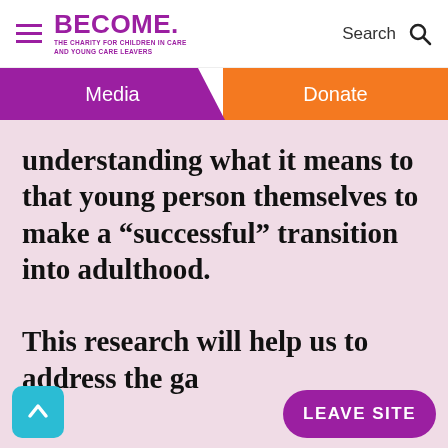BECOME. THE CHARITY FOR CHILDREN IN CARE AND YOUNG CARE LEAVERS | Search
Media | Donate
understanding what it means to that young person themselves to make a “successful” transition into adulthood.

This research will help us to address the gap
LEAVE SITE